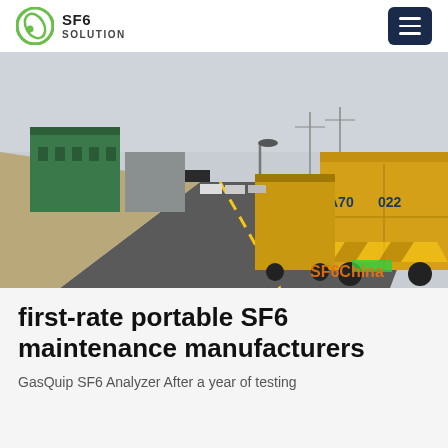SF6 SOLUTION
[Figure (photo): A convoy of yellow trucks on a road leading to an industrial facility with green warehouse buildings and power infrastructure in the background. A watermark reads 'SF6China' in orange text on the bottom right.]
first-rate portable SF6 maintenance manufacturers
GasQuip SF6 Analyzer After a year of testing